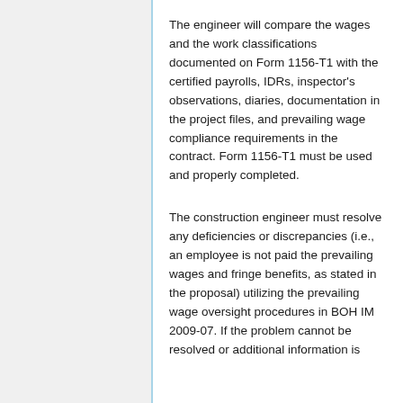The engineer will compare the wages and the work classifications documented on Form 1156-T1 with the certified payrolls, IDRs, inspector's observations, diaries, documentation in the project files, and prevailing wage compliance requirements in the contract. Form 1156-T1 must be used and properly completed.
The construction engineer must resolve any deficiencies or discrepancies (i.e., an employee is not paid the prevailing wages and fringe benefits, as stated in the proposal) utilizing the prevailing wage oversight procedures in BOH IM 2009-07. If the problem cannot be resolved or additional information is